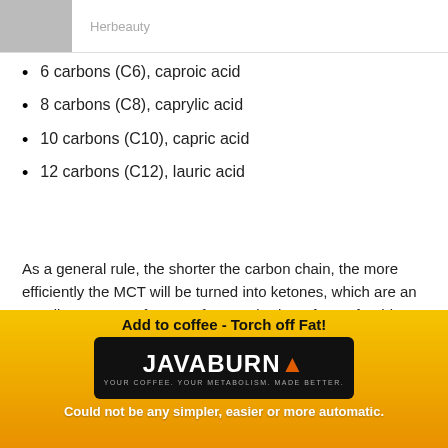[Figure (photo): Small photo of a person in white clothing, with 'Herbeauty' label to the right]
6 carbons (C6), caproic acid
8 carbons (C8), caprylic acid
10 carbons (C10), capric acid
12 carbons (C12), lauric acid
As a general rule, the shorter the carbon chain, the more efficiently the MCT will be turned into ketones, which are an excellent source of energy for your body — far preferable to glucose, as ketones produce far less reactive oxygen species
[Figure (advertisement): JavaBurn advertisement banner with yellow-orange gradient background, black product packet, headline 'Add to coffee - Torch off Fat!' and tagline 'Could not be any simpler, easier or more automatic.']